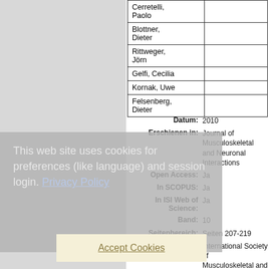| Author |  |
| --- | --- |
| Cerretelli, Paolo |  |
| Blottner, Dieter |  |
| Rittweger, Jörn |  |
| Gelfi, Cecilia |  |
| Kornak, Uwe |  |
| Felsenberg, Dieter |  |
Datum: 2010
Erschienen in: Journal of Musculoskeletal and Neuronal Interactions
Open Access: Ja
In SCOPUS: Ja
In ISI Web of Science: Ja
Band: 10
Seitenbereich: Seiten 207-219
Verlag: International Society of Musculoskeletal and Neuronal Interactions
ISSN: 1108-7161
Stichwörter: Spaceflight, Microgravity, Countermeasures, Inactivity, Exercise
DLR - Weltraum